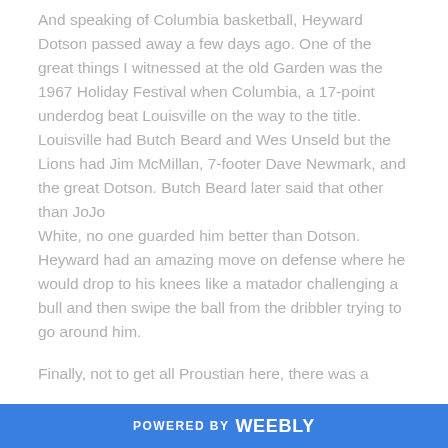And speaking of Columbia basketball, Heyward Dotson passed away a few days ago. One of the great things I witnessed at the old Garden was the 1967 Holiday Festival when Columbia, a 17-point underdog beat Louisville on the way to the title. Louisville had Butch Beard and Wes Unseld but the Lions had Jim McMillan, 7-footer Dave Newmark, and the great Dotson. Butch Beard later said that other than JoJo White, no one guarded him better than Dotson. Heyward had an amazing move on defense where he would drop to his knees like a matador challenging a bull and then swipe the ball from the dribbler trying to go around him.

Finally, not to get all Proustian here, there was a
POWERED BY weebly